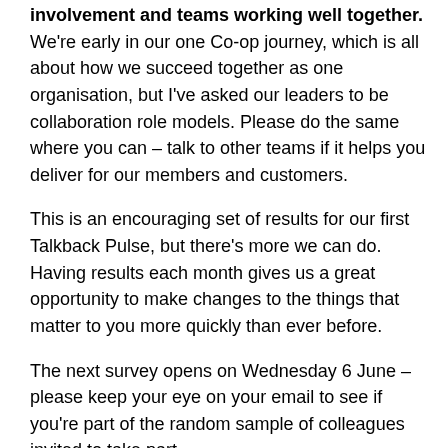involvement and teams working well together. We're early in our one Co-op journey, which is all about how we succeed together as one organisation, but I've asked our leaders to be collaboration role models. Please do the same where you can – talk to other teams if it helps you deliver for our members and customers.
This is an encouraging set of results for our first Talkback Pulse, but there's more we can do. Having results each month gives us a great opportunity to make changes to the things that matter to you more quickly than ever before.
The next survey opens on Wednesday 6 June – please keep your eye on your email to see if you're part of the random sample of colleagues invited to take part.
Steve Murrells
Chief Executive